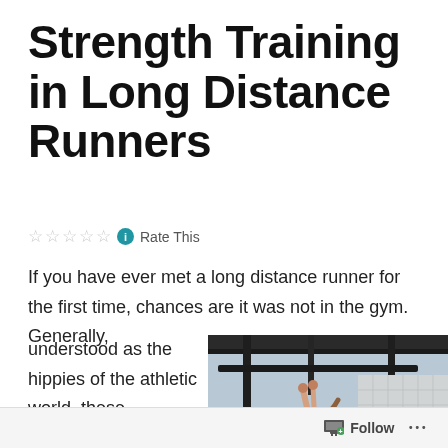Strength Training in Long Distance Runners
Rate This
If you have ever met a long distance runner for the first time, chances are it was not in the gym. Generally, understood as the hippies of the athletic world, these
[Figure (photo): A woman athlete doing gymnastics/pull-up training on rings in a gym setting, jumping onto a box]
Follow ...